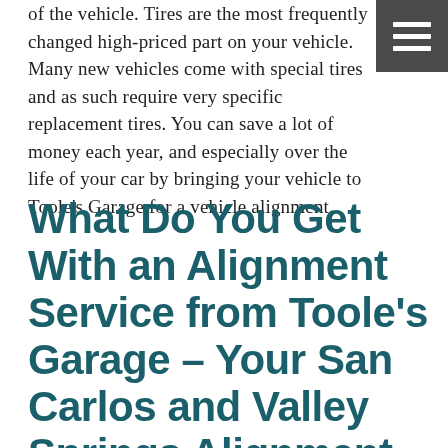of the vehicle. Tires are the most frequently changed high-priced part on your vehicle. Many new vehicles come with special tires and as such require very specific replacement tires. You can save a lot of money each year, and especially over the life of your car by bringing your vehicle to Toole's Garage for a vehicle alignment.
What Do You Get With an Alignment Service from Toole's Garage - Your San Carlos and Valley Springs Alignment Service?